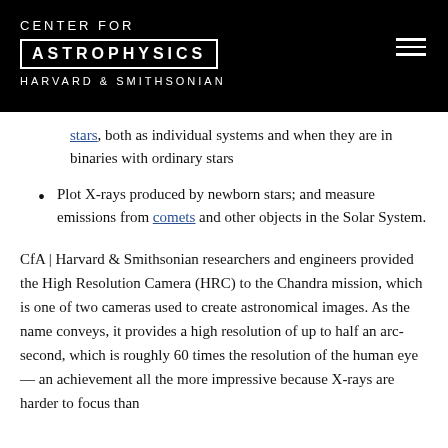CENTER FOR ASTROPHYSICS HARVARD & SMITHSONIAN
stars, both as individual systems and when they are in binaries with ordinary stars
Plot X-rays produced by newborn stars; and measure emissions from comets and other objects in the Solar System.
CfA | Harvard & Smithsonian researchers and engineers provided the High Resolution Camera (HRC) to the Chandra mission, which is one of two cameras used to create astronomical images. As the name conveys, it provides a high resolution of up to half an arc-second, which is roughly 60 times the resolution of the human eye – an achievement all the more impressive because X-rays are harder to focus than